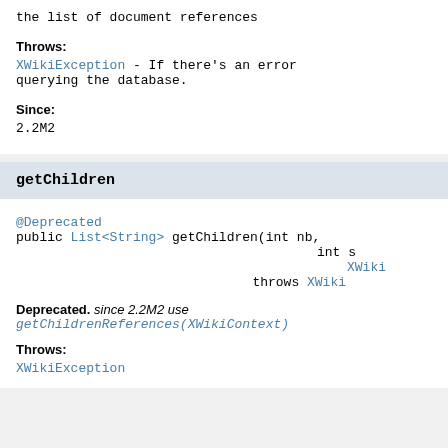the list of document references
Throws:
XWikiException - If there's an error querying the database.
Since:
2.2M2
getChildren
@Deprecated
public List<String> getChildren(int nb,
                                         int s
                                         XWiki
                               throws XWiki
Deprecated. since 2.2M2 use getChildrenReferences(XWikiContext)
Throws:
XWikiException